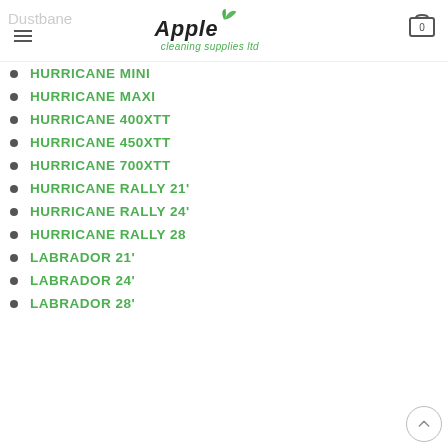Dustbane — Apple Cleaning Supplies Ltd
HURRICANE MINI
HURRICANE MAXI
HURRICANE 400XTT
HURRICANE 450XTT
HURRICANE 700XTT
HURRICANE RALLY 21'
HURRICANE RALLY 24'
HURRICANE RALLY 28
LABRADOR 21'
LABRADOR 24'
LABRADOR 28'